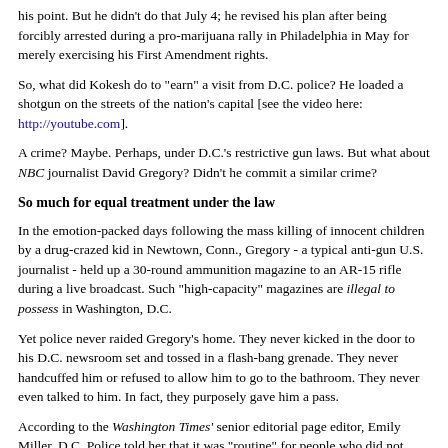his point. But he didn't do that July 4; he revised his plan after being forcibly arrested during a pro-marijuana rally in Philadelphia in May for merely exercising his First Amendment rights.
So, what did Kokesh do to "earn" a visit from D.C. police? He loaded a shotgun on the streets of the nation's capital [see the video here: http://youtube.com].
A crime? Maybe. Perhaps, under D.C.'s restrictive gun laws. But what about NBC journalist David Gregory? Didn't he commit a similar crime?
So much for equal treatment under the law
In the emotion-packed days following the mass killing of innocent children by a drug-crazed kid in Newtown, Conn., Gregory - a typical anti-gun U.S. journalist - held up a 30-round ammunition magazine to an AR-15 rifle during a live broadcast. Such "high-capacity" magazines are illegal to possess in Washington, D.C.
Yet police never raided Gregory's home. They never kicked in the door to his D.C. newsroom set and tossed in a flash-bang grenade. They never handcuffed him or refused to allow him to go to the bathroom. They never even talked to him. In fact, they purposely gave him a pass.
According to the Washington Times' senior editorial page editor, Emily Miller, D.C. Police told her that it was "routine" for people who did not commit gun crimes "in police officers' presence."
There were no cops visible in Kokesh's video. One has to assume that if police